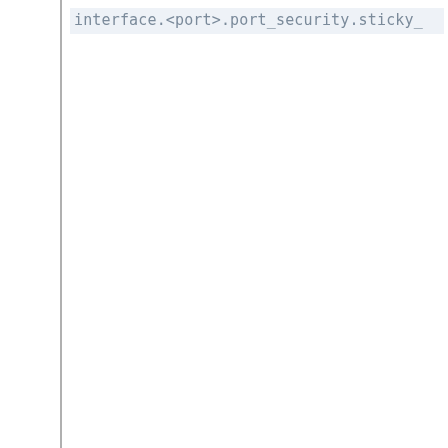interface.<port>.port_security.sticky_